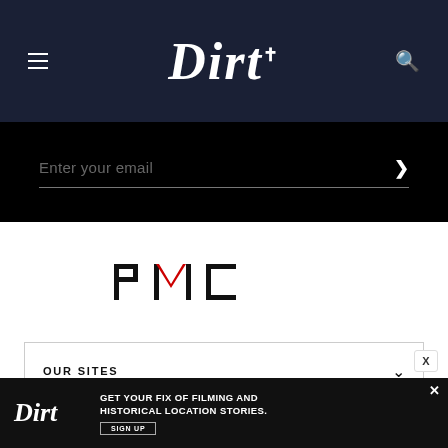Dirt
Enter your email
[Figure (logo): PMC (Penske Media Corporation) logo in black with red accent on the M letter]
OUR SITES
Dirt is a part of Penske Media Corporation. © 2022 Dirt.com, LLC. All Rights Reserved. Powered by WordPress.com VIP
[Figure (screenshot): Advertisement banner for Dirt: 'GET YOUR FIX OF FILMING AND HISTORICAL LOCATION STORIES. SIGN UP']